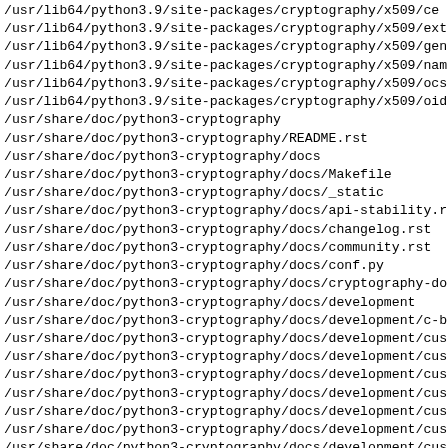/usr/lib64/python3.9/site-packages/cryptography/x509/ce
/usr/lib64/python3.9/site-packages/cryptography/x509/exte
/usr/lib64/python3.9/site-packages/cryptography/x509/gene
/usr/lib64/python3.9/site-packages/cryptography/x509/name
/usr/lib64/python3.9/site-packages/cryptography/x509/ocsp
/usr/lib64/python3.9/site-packages/cryptography/x509/oid
/usr/share/doc/python3-cryptography
/usr/share/doc/python3-cryptography/README.rst
/usr/share/doc/python3-cryptography/docs
/usr/share/doc/python3-cryptography/docs/Makefile
/usr/share/doc/python3-cryptography/docs/_static
/usr/share/doc/python3-cryptography/docs/api-stability.rs
/usr/share/doc/python3-cryptography/docs/changelog.rst
/usr/share/doc/python3-cryptography/docs/community.rst
/usr/share/doc/python3-cryptography/docs/conf.py
/usr/share/doc/python3-cryptography/docs/cryptography-doc
/usr/share/doc/python3-cryptography/docs/development
/usr/share/doc/python3-cryptography/docs/development/c-bi
/usr/share/doc/python3-cryptography/docs/development/cust
/usr/share/doc/python3-cryptography/docs/development/cust
/usr/share/doc/python3-cryptography/docs/development/cust
/usr/share/doc/python3-cryptography/docs/development/cust
/usr/share/doc/python3-cryptography/docs/development/cust
/usr/share/doc/python3-cryptography/docs/development/cust
/usr/share/doc/python3-cryptography/docs/development/cust
/usr/share/doc/python3-cryptography/docs/development/cust
/usr/share/doc/python3-cryptography/docs/development/cust
/usr/share/doc/python3-cryptography/docs/development/cust
/usr/share/doc/python3-cryptography/docs/development/cust
/usr/share/doc/python3-cryptography/docs/development/cust
/usr/share/doc/python3-cryptography/docs/development/cust